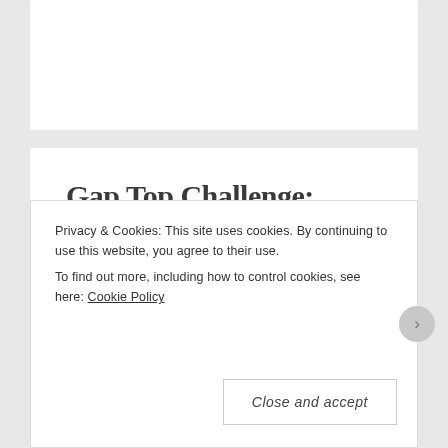[Figure (other): White card/panel at the top, partially visible, representing a blog page header area]
Gap Top Challenge: Outfit 9, In a Sea of Chairs
AUGUST 30, 2014
ABBY HATHORN
Privacy & Cookies: This site uses cookies. By continuing to use this website, you agree to their use. To find out more, including how to control cookies, see here: Cookie Policy
Close and accept